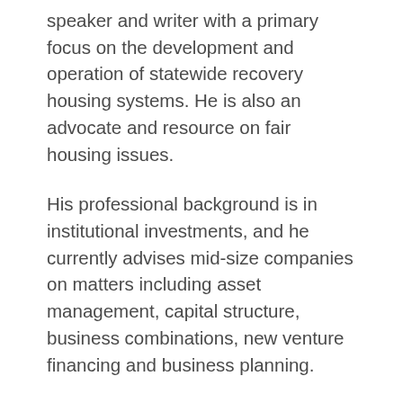speaker and writer with a primary focus on the development and operation of statewide recovery housing systems. He is also an advocate and resource on fair housing issues.
His professional background is in institutional investments, and he currently advises mid-size companies on matters including asset management, capital structure, business combinations, new venture financing and business planning.
His behavioral health industry experience includes CFO and COO positions with a prominent Southern California provider. D...